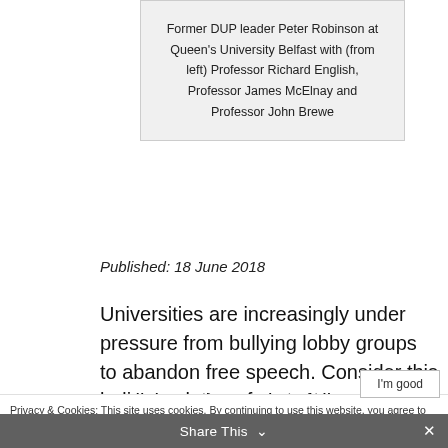Former DUP leader Peter Robinson at Queen's University Belfast with (from left) Professor Richard English, Professor James McElnay and Professor John Brewe
Published: 18 June 2018
Universities are increasingly under pressure from bullying lobby groups to abandon free speech. Consider this ludicrous letter of protest produced last week by 37 Queen's academics.
Privacy & Cookies: This site uses cookies. By continuing to use this website, you agree to their use. To find out more, including how to control cookies, see here: Cookie Policy
English, and associate fellows of the George